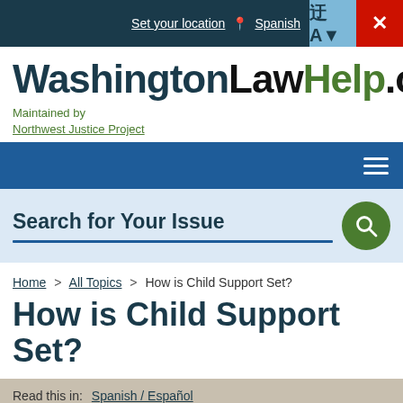Set your location  Spanish
[Figure (logo): WashingtonLawHelp.org logo with text 'Maintained by Northwest Justice Project']
Search for Your Issue
Home > All Topics > How is Child Support Set?
How is Child Support Set?
Read this in:  Spanish / Español